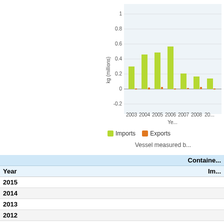[Figure (bar-chart): kg (millions) vs Year]
Vessel measured b...
| Year | Container Im... |
| --- | --- |
| 2015 |  |
| 2014 |  |
| 2013 |  |
| 2012 |  |
| 2011 |  |
| 2010 |  |
| 2009 |  |
| 2008 |  |